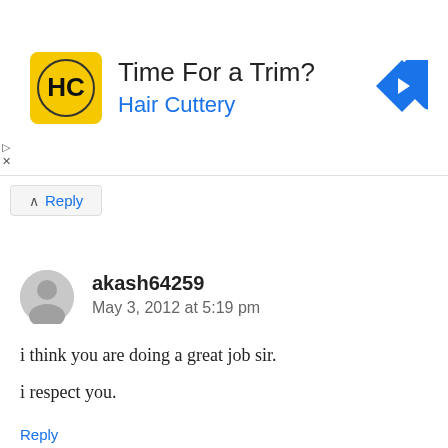[Figure (other): Hair Cuttery advertisement banner with logo and navigation arrow icon]
Reply
akash64259
May 3, 2012 at 5:19 pm

i think you are doing a great job sir.

i respect you.
Reply